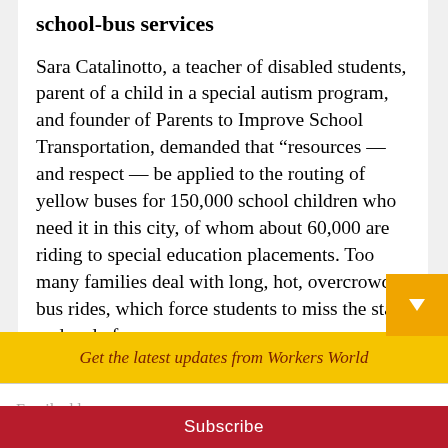school-bus services
Sara Catalinotto, a teacher of disabled students, parent of a child in a special autism program, and founder of Parents to Improve School Transportation, demanded that “resources — and respect — be applied to the routing of yellow buses for 150,000 school children who need it in this city, of whom about 60,000 are riding to special education placements. Too many families deal with long, hot, overcrowded bus rides, which force students to miss the start and end of
Get the latest updates from Workers World
Email address
Subscribe